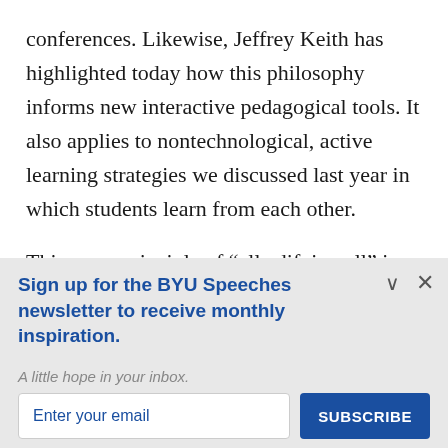conferences. Likewise, Jeffrey Keith has highlighted today how this philosophy informs new interactive pedagogical tools. It also applies to nontechnological, active learning strategies we discussed last year in which students learn from each other.
This same principle of “all edifying all” is
Sign up for the BYU Speeches newsletter to receive monthly inspiration.
A little hope in your inbox.
Enter your email
SUBSCRIBE